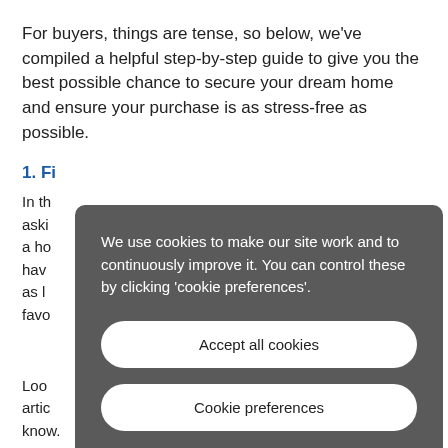For buyers, things are tense, so below, we've compiled a helpful step-by-step guide to give you the best possible chance to secure your dream home and ensure your purchase is as stress-free as possible.
1. Fi
In th  aski   k for a ho   ns hav   ve as l   g a favo
[Figure (screenshot): Cookie consent overlay with dark background showing message: 'We use cookies to make our site work and to continuously improve it. You can control these by clicking 'cookie preferences'.' with two buttons: 'Accept all cookies' and 'Cookie preferences']
Loo artic   to know.